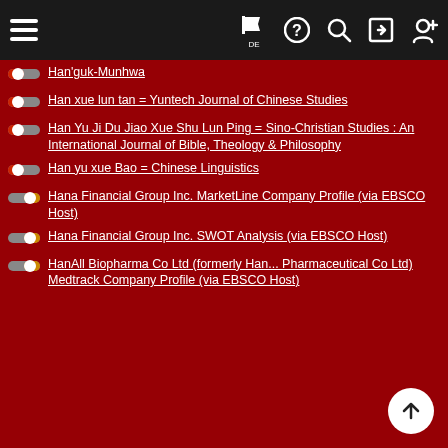Navigation bar with hamburger menu, DE flag, help, search, login, register icons
Han'guk-Munhwa
Han xue lun tan = Yuntech Journal of Chinese Studies
Han Yu Ji Du Jiao Xue Shu Lun Ping = Sino-Christian Studies : An International Journal of Bible, Theology & Philosophy
Han yu xue Bao = Chinese Linguistics
Hana Financial Group Inc. MarketLine Company Profile (via EBSCO Host)
Hana Financial Group Inc. SWOT Analysis (via EBSCO Host)
HanAll Biopharma Co Ltd (formerly Han... Pharmaceutical Co Ltd) Medtrack Company Profile (via EBSCO Host)